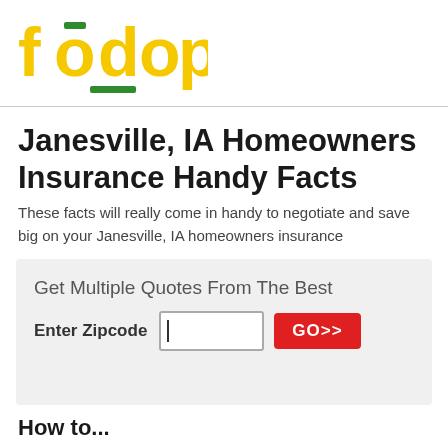fodop
Janesville, IA Homeowners Insurance Handy Facts
These facts will really come in handy to negotiate and save big on your Janesville, IA homeowners insurance
Get Multiple Quotes From The Best Enter Zipcode [input] GO>>
How to...